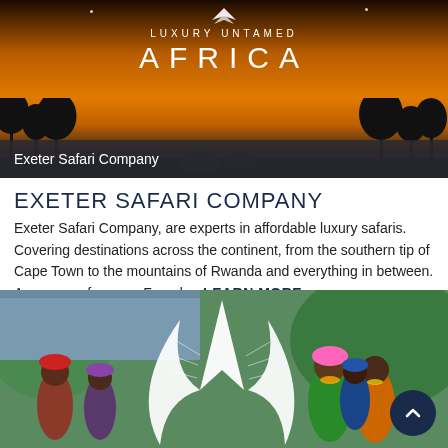[Figure (photo): Hero banner image showing African savanna sunset silhouette with trees and wildlife, overlaid with text 'LUXURY UNTAMED AFRICA' in white, and a bottom bar reading 'Exeter Safari Company']
EXETER SAFARI COMPANY
Exeter Safari Company, are experts in affordable luxury safaris. Covering destinations across the continent, from the southern tip of Cape Town to the mountains of Rwanda and everything in between. A message from our Founder: LEARN MORE
[Figure (photo): Photo of African women in colorful traditional dress and headdresses, with a white stylized feather/bird logo overlay in the center. A dark navy circular scroll-up button is visible in the bottom right corner.]